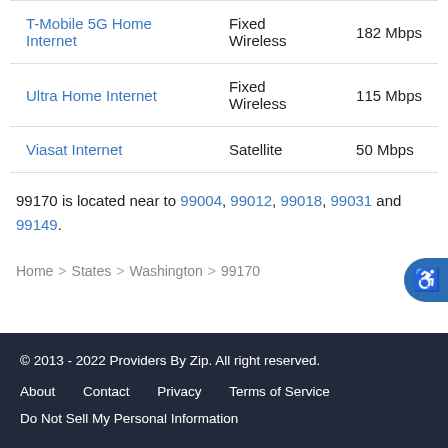| Provider | Type | Speed |
| --- | --- | --- |
| T-Mobile 5G Home Internet | Fixed Wireless | 182 Mbps |
| Ultra Home Internet | Fixed Wireless | 115 Mbps |
| Viasat Internet | Satellite | 50 Mbps |
99170 is located near to 99004, 99012, 99018, 99031 and 99149.
Home > States > Washington > 99170
© 2013 - 2022 Providers By Zip. All right reserved. About  Contact  Privacy  Terms of Service  Do Not Sell My Personal Information